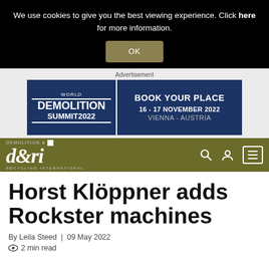We use cookies to give you the best viewing experience. Click here for more information.
OK
[Figure (other): World Demolition Summit 2022 advertisement banner - Book Your Place, 16-17 November 2022, Vienna - Austria]
[Figure (logo): d&ri Demolition & Recycling International logo with navigation icons (search, user, menu)]
Horst Klöppner adds Rockster machines
By Leila Steed | 09 May 2022
2 min read